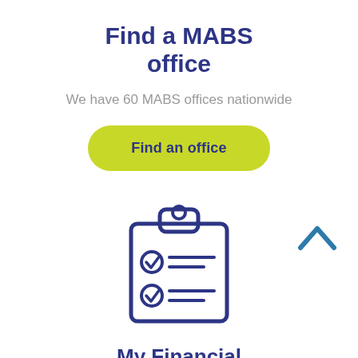Find a MABS office
We have 60 MABS offices nationwide
[Figure (infographic): Yellow-green rounded button with bold text 'Find an office']
[Figure (illustration): Clipboard icon with two checked list items and horizontal lines, drawn in navy blue outline style]
My Financial Healthcheck
Get your check for your financial health…